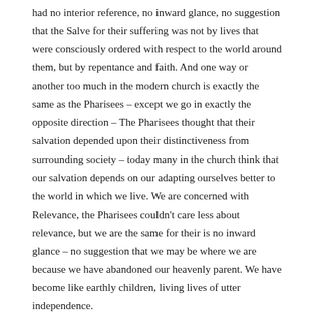had no interior reference, no inward glance, no suggestion that the Salve for their suffering was not by lives that were consciously ordered with respect to the world around them, but by repentance and faith. And one way or another too much in the modern church is exactly the same as the Pharisees – except we go in exactly the opposite direction – The Pharisees thought that their salvation depended upon their distinctiveness from surrounding society – today many in the church think that our salvation depends on our adapting ourselves better to the world in which we live. We are concerned with Relevance, the Pharisees couldn't care less about relevance, but we are the same for their is no inward glance – no suggestion that we may be where we are because we have abandoned our heavenly parent. We have become like earthly children, living lives of utter independence. There is a spirit alive and well in the church that thinks that we have in a sense 'come of age' as human beings, that we can now make our own plans, carve out our own paths – we can live without reference to the Commandment of God. 'We know better now' is the mantra of our age